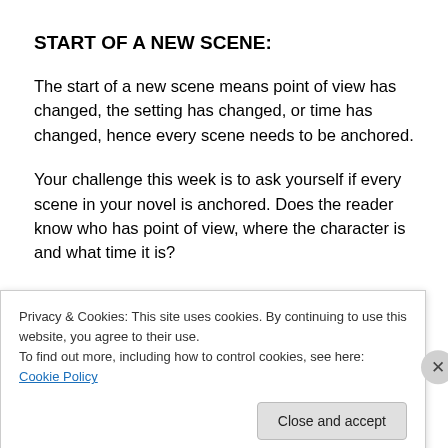START OF A NEW SCENE:
The start of a new scene means point of view has changed, the setting has changed, or time has changed, hence every scene needs to be anchored.
Your challenge this week is to ask yourself if every scene in your novel is anchored. Does the reader know who has point of view, where the character is and what time it is?
I critiqued DESCENT and BLAZE using the techniques
Privacy & Cookies: This site uses cookies. By continuing to use this website, you agree to their use.
To find out more, including how to control cookies, see here: Cookie Policy
Close and accept